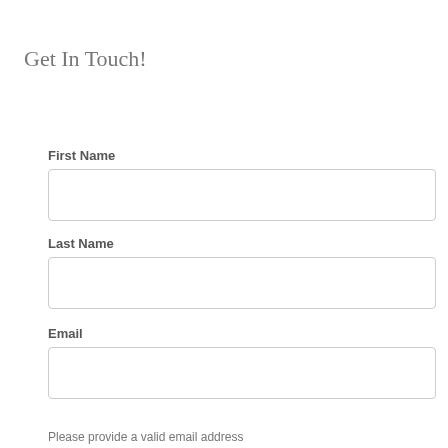Get In Touch!
First Name
Last Name
Email
Please provide a valid email address